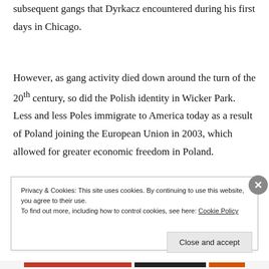subsequent gangs that Dyrkacz encountered during his first days in Chicago.
However, as gang activity died down around the turn of the 20th century, so did the Polish identity in Wicker Park. Less and less Poles immigrate to America today as a result of Poland joining the European Union in 2003, which allowed for greater economic freedom in Poland.
Privacy & Cookies: This site uses cookies. By continuing to use this website, you agree to their use.
To find out more, including how to control cookies, see here: Cookie Policy
Close and accept